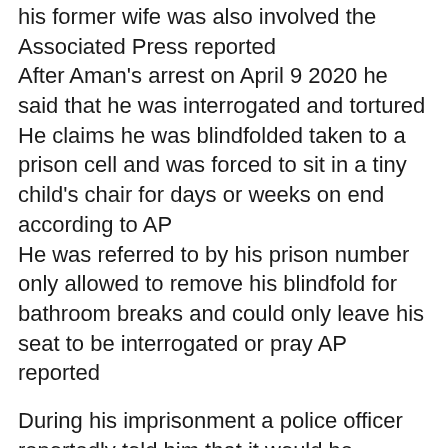his former wife was also involved the Associated Press reported After Aman's arrest on April 9 2020 he said that he was interrogated and tortured He claims he was blindfolded taken to a prison cell and was forced to sit in a tiny child's chair for days or weeks on end according to AP He was referred to by his prison number only allowed to remove his blindfold for bathroom breaks and could only leave his seat to be interrogated or pray AP reported
During his imprisonment a police officer reportedly told him that it would be "better" if he proceeded with a divorce He resisted the request for months AP said In August an Islamic judge asked him whether he felt coerced into separation Aman said yes but the judge the activist told AP refuted this "How are you being forced? Do you see me carrying a gun?" he says the local official told him.